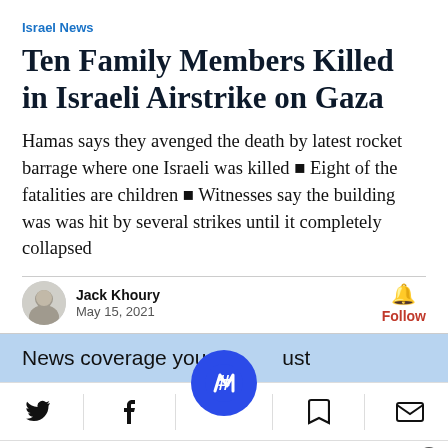Israel News
Ten Family Members Killed in Israeli Airstrike on Gaza
Hamas says they avenged the death by latest rocket barrage where one Israeli was killed ■ Eight of the fatalities are children ■ Witnesses say the building was was hit by several strikes until it completely collapsed
Jack Khoury
May 15, 2021
News coverage you must
[Figure (screenshot): Bottom toolbar with Twitter, Facebook, Newsbreak (circle), bookmark, and email icons]
[Figure (screenshot): Ad bar: Petco ad with In-store shopping and Curbside pickup checkmarks, close button, and direction arrow icon]